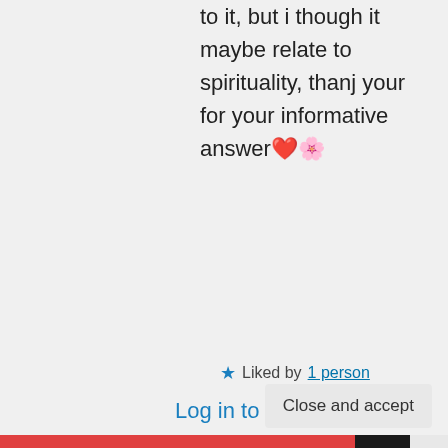to it, but i though it maybe relate to spirituality, thanj your for your informative answer❤️🌸
★ Liked by 1 person
Log in to Reply
Didis Art
Privacy & Cookies: This site uses cookies. By continuing to use this website, you agree to their use.
To find out more, including how to control cookies, see here: Cookie Policy
Close and accept